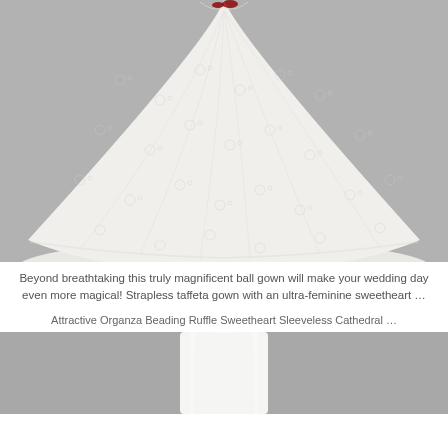[Figure (photo): A white ball gown wedding dress with floral lace/embroidery pattern, strapless sweetheart neckline, displayed on a gray background. The skirt is very full and spread wide.]
Beyond breathtaking this truly magnificent ball gown will make your wedding day even more magical! Strapless taffeta gown with an ultra-feminine sweetheart …
Attractive Organza Beading Ruffle Sweetheart Sleeveless Cathedral …
[Figure (photo): Bottom portion of a white wedding dress or gown shown from below the waist, displayed on a gray background. Only the lower part is visible.]